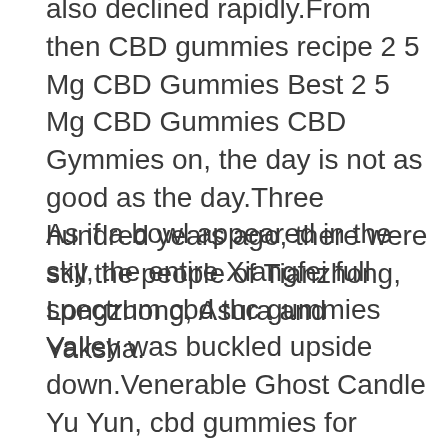also declined rapidly.From then CBD gummies recipe 2 5 Mg CBD Gummies Best 2 5 Mg CBD Gummies CBD Gymmies on, the day is not as good as the day.Three hundred years ago, there were still the people of Tianzhong, Longzhong, Asura and Yaksha.
As if a bowl appeared in the sky, the entire Xiangfei full spectrum cbd thc gummies Valley was buckled upside down.Venerable Ghost Candle Yu Yun, cbd gummies for dementia the owner of the daughter s village, stood up, with a hint of anger on his face.At this moment, I suddenly felt something different beside me, and a palm wind came.But she reacted at this time, It s too late.Seeing does cbd gummies thin your blood the palm force approaching her, she was about to hit a key point in her heart.But it 2 5 Mg CBD Gummies was a mysterious fire that emerged from behind.Bang Two palms disappear.But it was the moment when the burning silence was on the verge of death, blocking the next catastrophe for Yu Yun.Helianchen How dare you join forces with the Ghost Sect Fen Ji has been on guard since he received Lichen s warning.He Lianchen was locked when he heard the loud noise just now.Feng Ji can cbd gummies cause high blood pressure He Lianchen s face showed